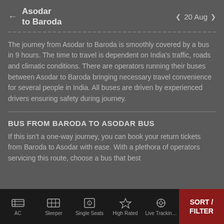Asodar to Baroda — 20 Aug
The journey from Asodar to Baroda is smoothly covered by a bus in 9 hours. The time to travel is dependent on India's traffic, roads and climatic conditions. There are operators running their buses between Asodar to Baroda bringing necessary travel convenience for several people in India. All buses are driven by experienced drivers ensuring safety during journey.
BUS FROM BARODA TO ASODAR BUS
If this isn't a one-way journey, you can book your return tickets from Baroda to Asodar with ease. With a plethora of operators servicing this route, choose a bus that best
AC | Sleeper | Single Seats | High Rated | Live Tracking | SORT / FILTER